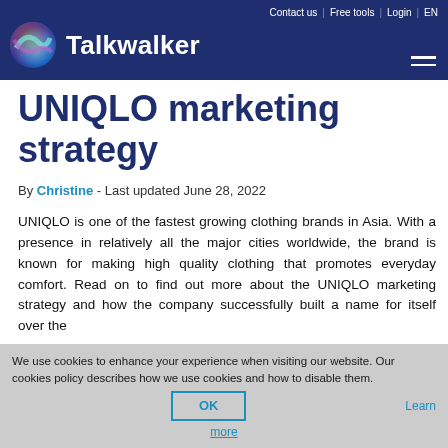Contact us | Free tools | Login | EN
[Figure (logo): Talkwalker logo with colorful globe icon and white text on dark blue navigation bar]
UNIQLO marketing strategy
By Christine - Last updated June 28, 2022
UNIQLO is one of the fastest growing clothing brands in Asia. With a presence in relatively all the major cities worldwide, the brand is known for making high quality clothing that promotes everyday comfort. Read on to find out more about the UNIQLO marketing strategy and how the company successfully built a name for itself over the
We use cookies to enhance your experience when visiting our website. Our cookies policy describes how we use cookies and how to disable them. OK Learn more